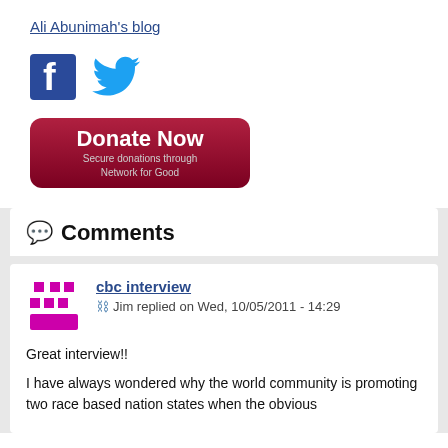Ali Abunimah's blog
[Figure (illustration): Facebook and Twitter social media icons side by side]
[Figure (illustration): Red donate now button with text 'Secure donations through Network for Good']
Comments
cbc interview
Jim replied on Wed, 10/05/2011 - 14:29
Great interview!!
I have always wondered why the world community is promoting two race based nation states when the obvious